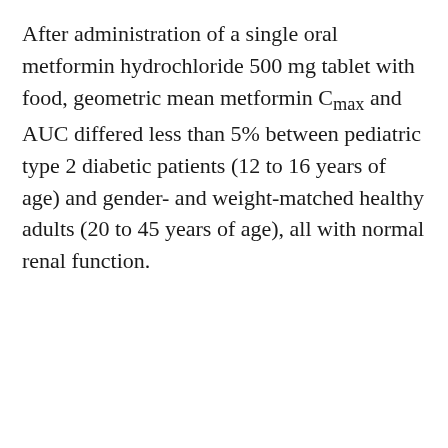After administration of a single oral metformin hydrochloride 500 mg tablet with food, geometric mean metformin Cmax and AUC differed less than 5% between pediatric type 2 diabetic patients (12 to 16 years of age) and gender- and weight-matched healthy adults (20 to 45 years of age), all with normal renal function.